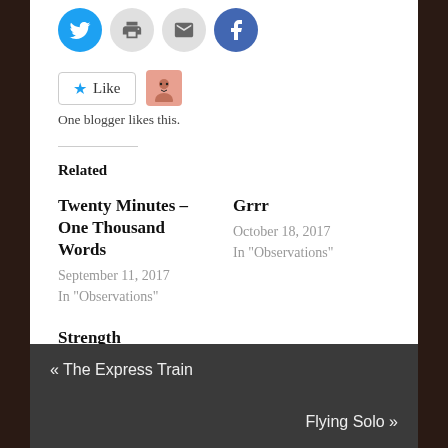[Figure (illustration): Social sharing icons row: Twitter (blue circle), Print (gray circle), Email (gray circle), Facebook (blue circle)]
[Figure (illustration): Like button with star icon and a blogger avatar thumbnail]
One blogger likes this.
Related
Twenty Minutes – One Thousand Words
September 11, 2017
In "Observations"
Grrr
October 18, 2017
In "Observations"
Strength
November 23, 2016
In "Observations"
« The Express Train
Flying Solo »